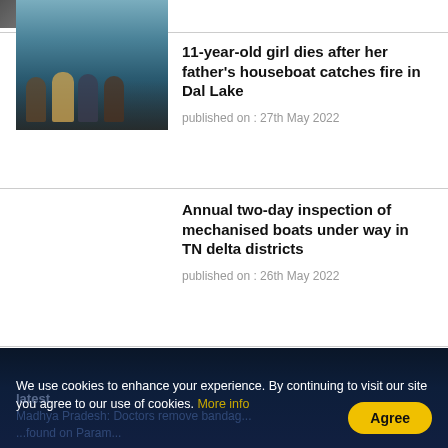[Figure (photo): Partial top image, cropped news photo]
11-year-old girl dies after her father's houseboat catches fire in Dal Lake
published on : 27th May 2022
[Figure (photo): Workers inspecting mechanised boats at a dock, TN delta districts]
Annual two-day inspection of mechanised boats under way in TN delta districts
published on : 26th May 2022
1 2 3 4 5 >
We use cookies to enhance your experience. By continuing to visit our site you agree to our use of cookies. More info